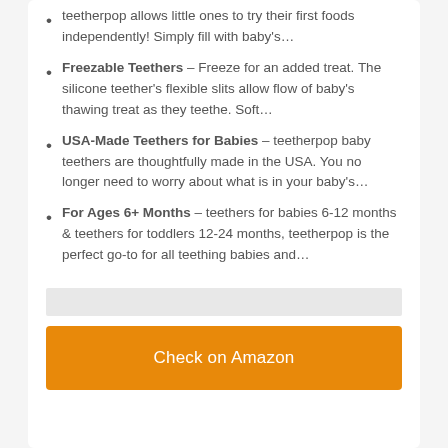teetherpop allows little ones to try their first foods independently! Simply fill with baby's…
Freezable Teethers – Freeze for an added treat. The silicone teether's flexible slits allow flow of baby's thawing treat as they teethe. Soft…
USA-Made Teethers for Babies – teetherpop baby teethers are thoughtfully made in the USA. You no longer need to worry about what is in your baby's…
For Ages 6+ Months – teethers for babies 6-12 months & teethers for toddlers 12-24 months, teetherpop is the perfect go-to for all teething babies and…
Check on Amazon